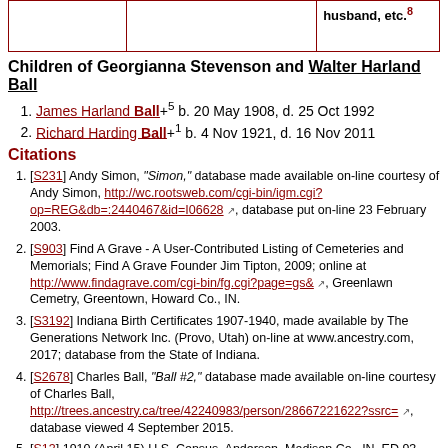|  |  | husband, etc.8 |
| --- | --- | --- |
|  |  |  |
Children of Georgianna Stevenson and Walter Harland Ball
James Harland Ball+5 b. 20 May 1908, d. 25 Oct 1992
Richard Harding Ball+1 b. 4 Nov 1921, d. 16 Nov 2011
Citations
[S231] Andy Simon, "Simon," database made available on-line courtesy of Andy Simon, http://wc.rootsweb.com/cgi-bin/igm.cgi?op=REG&db=:2440467&id=I06628, database put on-line 23 February 2003.
[S903] Find A Grave - A User-Contributed Listing of Cemeteries and Memorials; Find A Grave Founder Jim Tipton, 2009; online at http://www.findagrave.com/cgi-bin/fg.cgi?page=gs&, Greenlawn Cemetry, Greentown, Howard Co., IN.
[S3192] Indiana Birth Certificates 1907-1940, made available by The Generations Network Inc. (Provo, Utah) on-line at www.ancestry.com, 2017; database from the State of Indiana.
[S2678] Charles Ball, "Ball #2," database made available on-line courtesy of Charles Ball, http://trees.ancestry.ca/tree/42240983/person/28667221622?ssrc=, database viewed 4 September 2015.
[S13] 1910 (April 15) U.S. Census, Anderson, Madison Co., IN, ED 93, Sheet 7A (stamped 125).